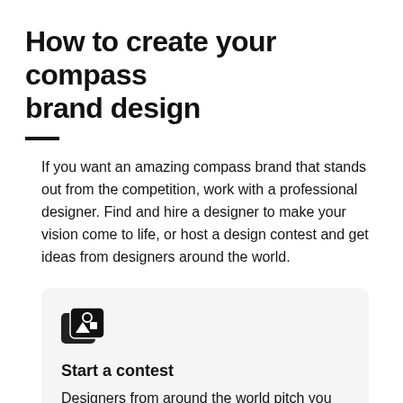How to create your compass brand design
If you want an amazing compass brand that stands out from the competition, work with a professional designer. Find and hire a designer to make your vision come to life, or host a design contest and get ideas from designers around the world.
Start a contest
Designers from around the world pitch you ideas. You